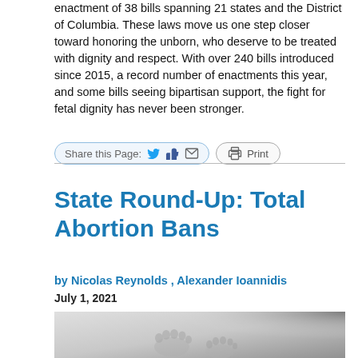enactment of 38 bills spanning 21 states and the District of Columbia. These laws move us one step closer toward honoring the unborn, who deserve to be treated with dignity and respect. With over 240 bills introduced since 2015, a record number of enactments this year, and some bills seeing bipartisan support, the fight for fetal dignity has never been stronger.
[Figure (screenshot): Share bar with Twitter, Facebook like, email icons inside a pill-shaped button labeled 'Share this Page:' and a separate Print pill button, followed by a horizontal rule]
State Round-Up: Total Abortion Bans
by Nicolas Reynolds , Alexander Ioannidis
July 1, 2021
[Figure (photo): Black and white close-up photo of newborn baby feet/footprints]